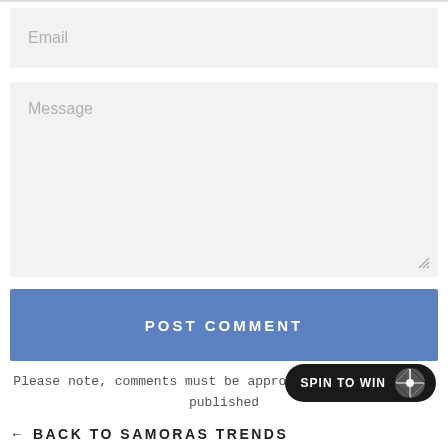Email
Message
POST COMMENT
Please note, comments must be approved before they are published
[Figure (other): SPIN TO WIN button with spinner icon]
← BACK TO SAMORAS TRENDS